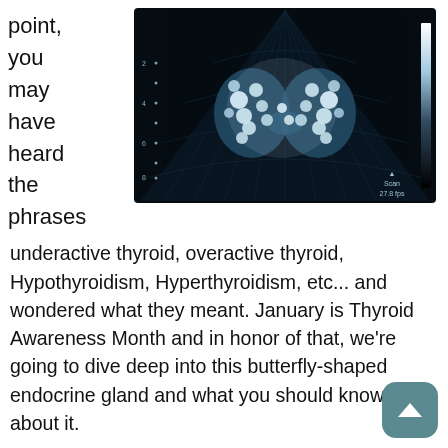point, you may have heard the phrases
[Figure (photo): Ultrasound scan image showing a butterfly-shaped thyroid gland with bright white nodules/calcifications visible on a dark background. A scale bar and 'Scan 27.8 fps' label appear in the lower right of the image.]
underactive thyroid, overactive thyroid, Hypothyroidism, Hyperthyroidism, etc... and wondered what they meant. January is Thyroid Awareness Month and in honor of that, we're going to dive deep into this butterfly-shaped endocrine gland and what you should know about it.